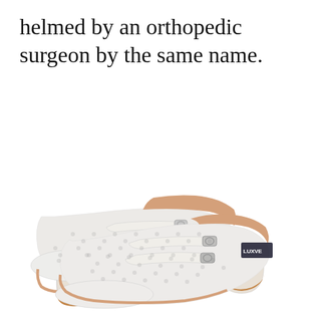helmed by an orthopedic surgeon by the same name.
[Figure (photo): Two white lace Mary Jane heeled pumps with double ankle straps and silver buckles, shown on a white background. The shoes have a rounded toe, block heel with tan/brown leather sole lining. Brand label partially visible reading 'LUXVE...' on the inner heel.]